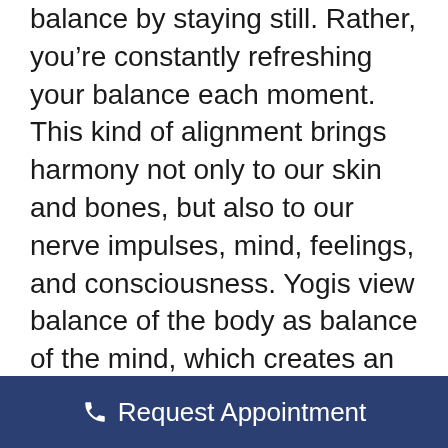balance by staying still. Rather, you're constantly refreshing your balance each moment. This kind of alignment brings harmony not only to our skin and bones, but also to our nerve impulses, mind, feelings, and consciousness. Yogis view balance of the body as balance of the mind, which creates an inner and outer cohesive calm.
In more scientific terms, our sense of balance is a complicated relationship between the inner ear, vision, and somatosensory system (the physical cues that tell the brain where the body is in its
Request Appointment